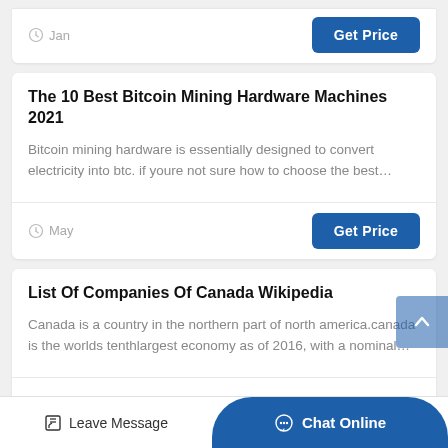Jan
Get Price
The 10 Best Bitcoin Mining Hardware Machines 2021
Bitcoin mining hardware is essentially designed to convert electricity into btc. if youre not sure how to choose the best…
May
Get Price
List Of Companies Of Canada Wikipedia
Canada is a country in the northern part of north america.canada is the worlds tenthlargest economy as of 2016, with a nominal…
Aug
Leave Message
Chat Online